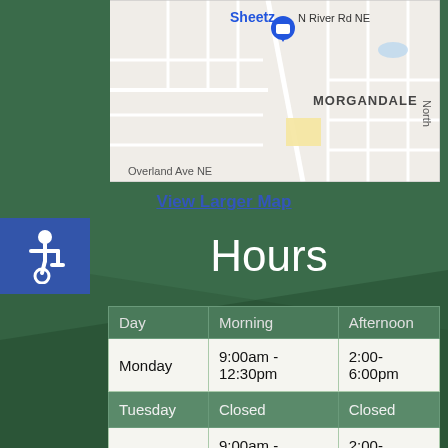[Figure (map): Google Maps screenshot showing Sheetz location near N River Rd NE, Morgandale area, with Overland Ave NE visible at bottom]
View Larger Map
Hours
| Day | Morning | Afternoon |
| --- | --- | --- |
| Monday | 9:00am - 12:30pm | 2:00-6:00pm |
| Tuesday | Closed | Closed |
| Wednesday | 9:00am - 12:30pm | 2:00-6:00pm |
| Thursday | Closed | Closed |